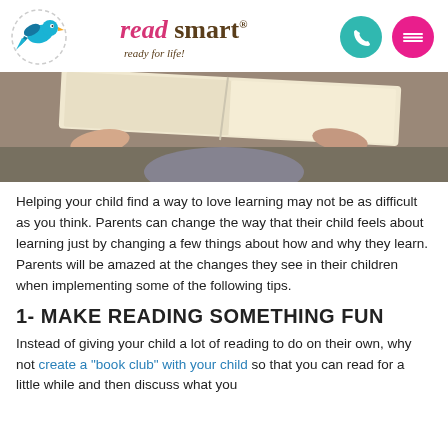[Figure (logo): ReadSmart logo with bird illustration and tagline 'ready for life!']
[Figure (photo): Child holding an open book, viewed from above, reading on a carpeted floor]
Helping your child find a way to love learning may not be as difficult as you think. Parents can change the way that their child feels about learning just by changing a few things about how and why they learn. Parents will be amazed at the changes they see in their children when implementing some of the following tips.
1- MAKE READING SOMETHING FUN
Instead of giving your child a lot of reading to do on their own, why not create a "book club" with your child so that you can read for a little while and then discuss what you